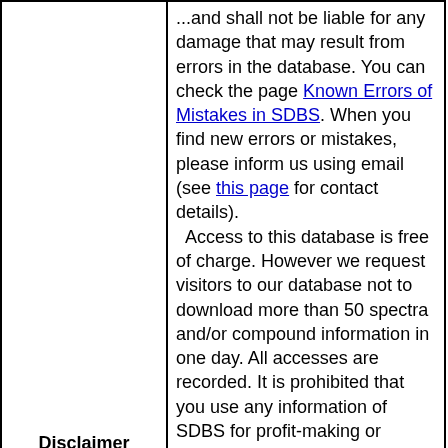| Label | Content |
| --- | --- |
| Disclaimer | ...and shall not be liable for any damage that may result from errors in the database. You can check the page Known Errors of Mistakes in SDBS. When you find new errors or mistakes, please inform us using email (see this page for contact details).
  Access to this database is free of charge. However we request visitors to our database not to download more than 50 spectra and/or compound information in one day. All accesses are recorded. It is prohibited that you use any information of SDBS for profit-making or commercial use without obtaining proper permission from us. If more spectra are required for some specific purpose or commercial use, you should consult us and describe the intended usage or purpose of our SDBS.
We also request that when you use the data of our SDBS in your publication or presentation, a proper acknowledgement be given as follows:
SDBSWeb : https://sdbs.db.aist.go.jp
(National Institute of Advanced Industrial Science and Technology, date of access) |